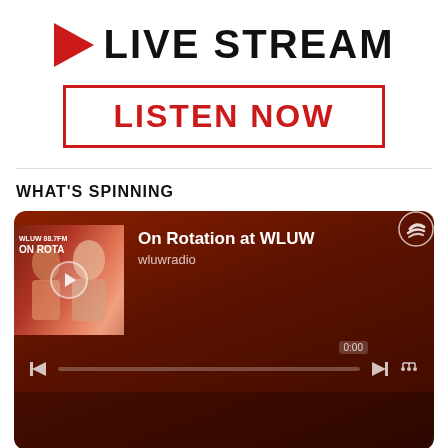LIVE STREAM
LISTEN NOW
WHAT'S SPINNING
[Figure (screenshot): Spotify embedded player widget showing 'On Rotation at WLUW' playlist by wluwradio with album art of two women, playback controls, progress bar, and Spotify logo on a dark red gradient background]